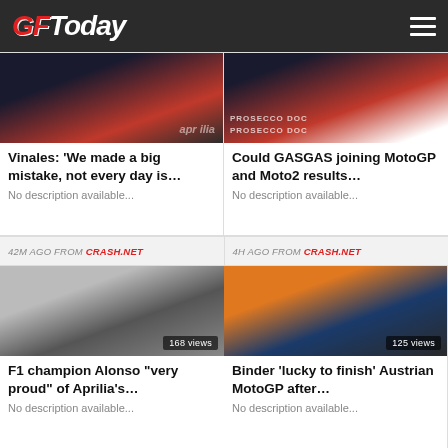GF Today
[Figure (photo): Vinales in Aprilia racing gear at press conference]
Vinales: ‘We made a big mistake, not every day is…
No description available...
[Figure (photo): GASGAS MotoGP rider on podium with Prosecco Doc branding]
Could GASGAS joining MotoGP and Moto2 results…
No description available...
42M AGO FROM CRASH.NET
4H AGO FROM CRASH.NET
[Figure (photo): Fernando Alonso in casual clothes at racing paddock, 168 views]
F1 champion Alonso “very proud” of Aprilia’s…
No description available...
[Figure (photo): Brad Binder wearing KTM cap and sunglasses, 125 views]
Binder ‘lucky to finish’ Austrian MotoGP after…
No description available...